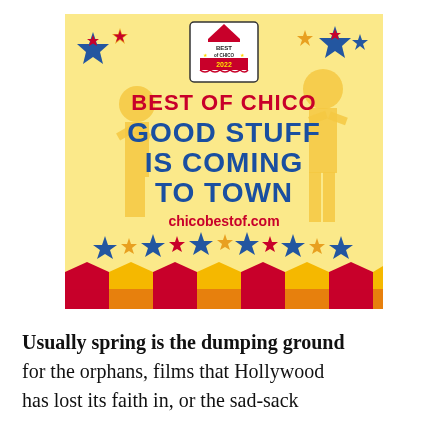[Figure (illustration): Best of Chico 2022 promotional banner. Yellow/cream background with carnival/circus theme. Blue and red stars decorating the top. Silhouette of performers in golden yellow. Red circus tent logo at top center with 'BEST of CHICO 2022' text. Large red bold text reads 'BEST OF CHICO'. Large blue bold slab-serif text reads 'GOOD STUFF IS COMING TO TOWN'. Red text 'chicobestof.com' below. Bottom border features alternating red and yellow tent/crown shapes with blue stars.]
Usually spring is the dumping ground for the orphans, films that Hollywood has lost its faith in, or the sad-sack